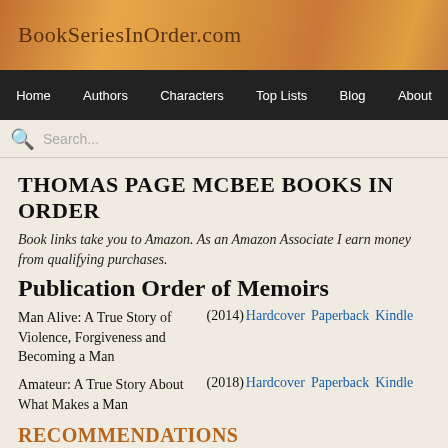BookSeriesInOrder.com
Home   Authors   Characters   Top Lists   Blog   About
Search...
THOMAS PAGE MCBEE BOOKS IN ORDER
Book links take you to Amazon. As an Amazon Associate I earn money from qualifying purchases.
Publication Order of Memoirs
Man Alive: A True Story of Violence, Forgiveness and Becoming a Man (2014) Hardcover Paperback Kindle
Amateur: A True Story About What Makes a Man (2018) Hardcover Paperback Kindle
RECOMMENDATIONS